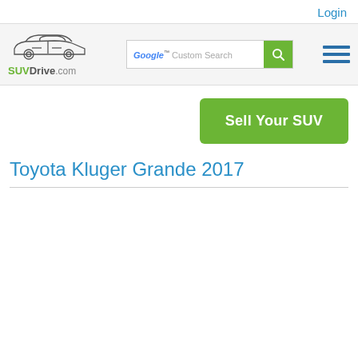Login
[Figure (logo): SUVDrive.com logo with car outline illustration and green/grey text]
[Figure (screenshot): Google Custom Search bar with green search button]
[Figure (other): Hamburger menu icon with three blue horizontal lines]
Sell Your SUV
Toyota Kluger Grande 2017